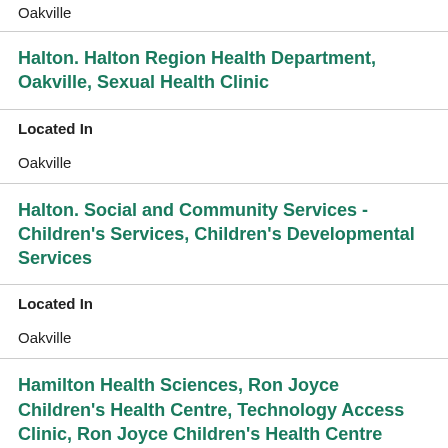Oakville
Halton. Halton Region Health Department, Oakville, Sexual Health Clinic
Located In
Oakville
Halton. Social and Community Services - Children's Services, Children's Developmental Services
Located In
Oakville
Hamilton Health Sciences, Ron Joyce Children's Health Centre, Technology Access Clinic, Ron Joyce Children's Health Centre
Located In